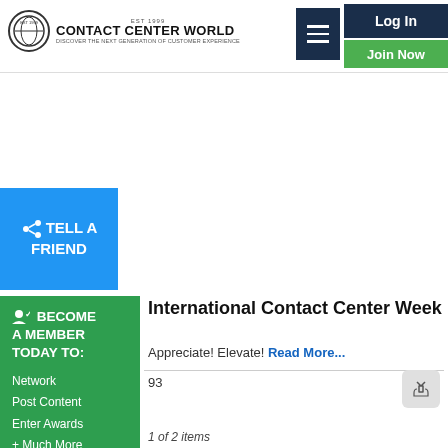Contact Center World — Discover The Next Generation Of Customer Experience | Log In | Join Now
[Figure (screenshot): Tell A Friend blue button with share icon]
[Figure (screenshot): Become A Member Today To: Network, Post Content, Enter Awards, + Much More — green sidebar panel]
International Contact Center Week
Appreciate! Elevate! Read More...
93
1 of 2 items